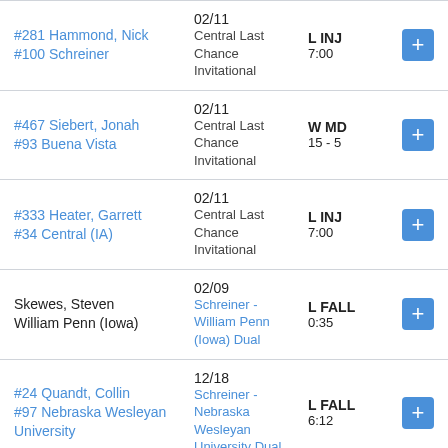| Opponent | Date/Event | Result | Action |
| --- | --- | --- | --- |
| #281 Hammond, Nick
#100 Schreiner | 02/11
Central Last Chance Invitational | L INJ
7:00 | + |
| #467 Siebert, Jonah
#93 Buena Vista | 02/11
Central Last Chance Invitational | W MD
15 - 5 | + |
| #333 Heater, Garrett
#34 Central (IA) | 02/11
Central Last Chance Invitational | L INJ
7:00 | + |
| Skewes, Steven
William Penn (Iowa) | 02/09
Schreiner - William Penn (Iowa) Dual | L FALL
0:35 | + |
| #24 Quandt, Collin
#97 Nebraska Wesleyan University | 12/18
Schreiner - Nebraska Wesleyan University Dual | L FALL
6:12 | + |